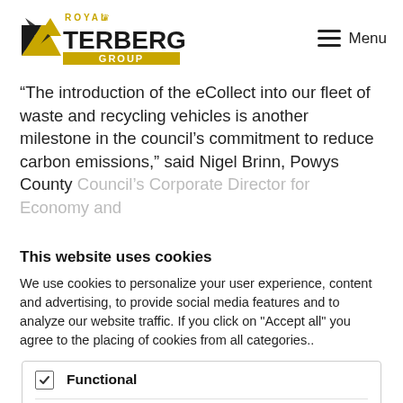Royal Terberg Group — Menu
“The introduction of the eCollect into our fleet of waste and recycling vehicles is another milestone in the council’s commitment to reduce carbon emissions,” said Nigel Brinn, Powys County Council’s Corporate Director for Economy and
This website uses cookies
We use cookies to personalize your user experience, content and advertising, to provide social media features and to analyze our website traffic. If you click on "Accept all" you agree to the placing of cookies from all categories..
Functional (checked)
Marketing
Statistics